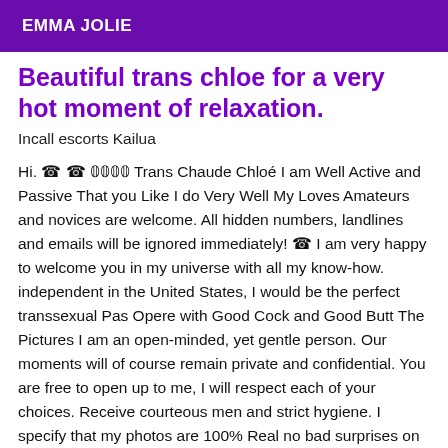EMMA JOLIE
Beautiful trans chloe for a very hot moment of relaxation.
Incall escorts Kailua
Hi. ☎ ☎ 𝟘𝟘𝟘𝟘 Trans Chaude Chloé I am Well Active and Passive That you Like I do Very Well My Loves Amateurs and novices are welcome. All hidden numbers, landlines and emails will be ignored immediately! ☎ I am very happy to welcome you in my universe with all my know-how. independent in the United States, I would be the perfect transsexual Pas Opere with Good Cock and Good Butt The Pictures I am an open-minded, yet gentle person. Our moments will of course remain private and confidential. You are free to open up to me, I will respect each of your choices. Receive courteous men and strict hygiene. I specify that my photos are 100% Real no bad surprises on the spot! Between softness, respect, and absolute discretion. You